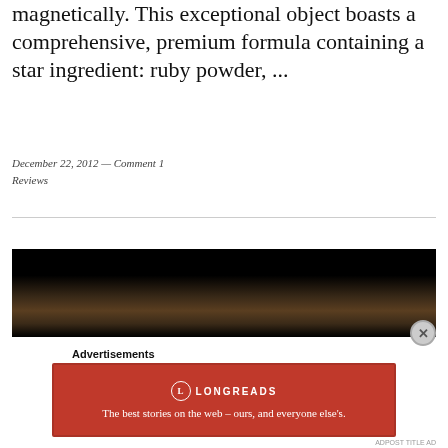magnetically. This exceptional object boasts a comprehensive, premium formula containing a star ingredient: ruby powder, ...
December 22, 2012 — Comment 1
Reviews
[Figure (photo): Dark photograph showing top of a person's head with brown hair against a black background]
Advertisements
[Figure (logo): Longreads advertisement banner in red: 'The best stories on the web – ours, and everyone else's.']